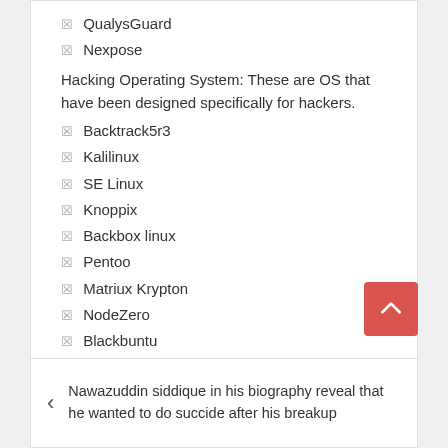✦ QualysGuard
✦ Nexpose
Hacking Operating System: These are OS that have been designed specifically for hackers.
✦ Backtrack5r3
✦ Kalilinux
✦ SE Linux
✦ Knoppix
✦ Backbox linux
✦ Pentoo
✦ Matriux Krypton
✦ NodeZero
✦ Blackbuntu
✦ CAINE
✦ DEFT
✦ Helix
Nawazuddin siddique in his biography reveal that he wanted to do succide after his breakup